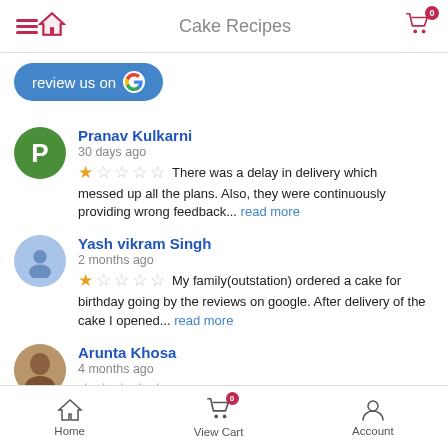Cake Recipes
[Figure (screenshot): Review us on Google button with Google logo]
Pranav Kulkarni
30 days ago
★☆☆☆☆ There was a delay in delivery which messed up all the plans. Also, they were continuously providing wrong feedback... read more
Yash vikram Singh
2 months ago
★☆☆☆☆ My family(outstation) ordered a cake for birthday going by the reviews on google. After delivery of the cake I opened... read more
Arunta Khosa
4 months ago
★★★★★
Home   View Cart   Account